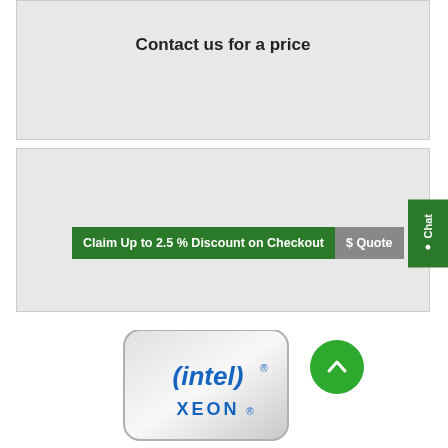Contact us for a price
Claim Up to 2.5 % Discount on Checkout
$ Quote
Chat
[Figure (logo): Intel Xeon processor logo/chip image with silver rounded square chip body showing intel logo in blue and 'XEON' text in blue below]